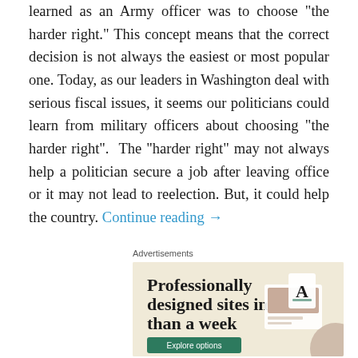learned as an Army officer was to choose "the harder right." This concept means that the correct decision is not always the easiest or most popular one. Today, as our leaders in Washington deal with serious fiscal issues, it seems our politicians could learn from military officers about choosing "the harder right". The "harder right" may not always help a politician secure a job after leaving office or it may not lead to reelection. But, it could help the country. Continue reading →
Advertisements
[Figure (other): Advertisement banner with beige background. Large bold serif text reads 'Professionally designed sites in less than a week'. Green button labeled 'Explore options'. Decorative device mockups on the right showing a website design with food imagery and a card showing the letter A.]